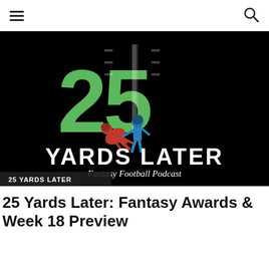[Figure (logo): 25 Yards Later Fantasy Football Podcast logo — large green '25' with football field yard lines, two football players (red and blue), text 'YARDS LATER' and 'Fantasy Football Podcast' on black background]
25 YARDS LATER
25 Yards Later: Fantasy Awards & Week 18 Preview